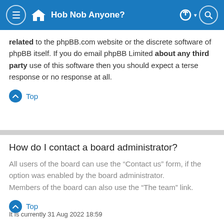Hob Nob Anyone?
related to the phpBB.com website or the discrete software of phpBB itself. If you do email phpBB Limited about any third party use of this software then you should expect a terse response or no response at all.
Top
How do I contact a board administrator?
All users of the board can use the “Contact us” form, if the option was enabled by the board administrator. Members of the board can also use the “The team” link.
Top
It is currently 31 Aug 2022 18:59